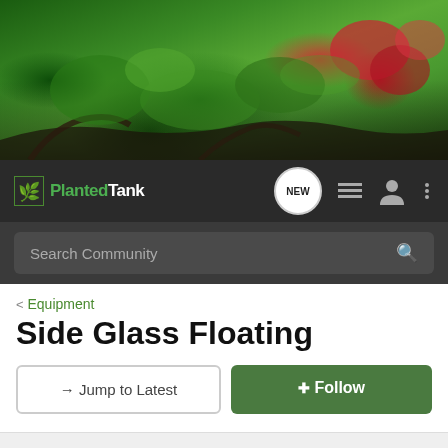[Figure (photo): Planted aquarium tank header banner with lush green aquatic plants, red plants in top right, driftwood roots, and a golden top bar accent]
PlantedTank · NEW · (nav icons)
Search Community
< Equipment
Side Glass Floating
→ Jump to Latest
+ Follow
1 - 6 of 6 Posts
kirehajba · Registered 🇳🇱
Joined Jul 4, 2021 · 1 Posts